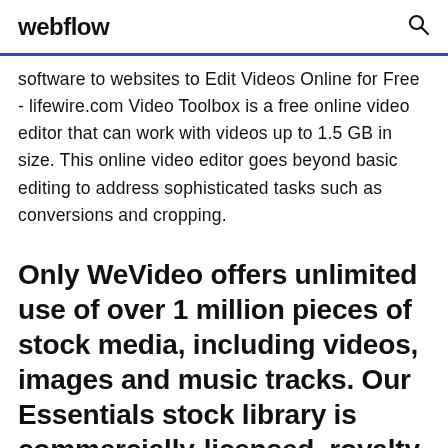webflow
software to websites to Edit Videos Online for Free - lifewire.com Video Toolbox is a free online video editor that can work with videos up to 1.5 GB in size. This online video editor goes beyond basic editing to address sophisticated tasks such as conversions and cropping.
Only WeVideo offers unlimited use of over 1 million pieces of stock media, including videos, images and music tracks. Our Essentials stock library is commercially-licensed, royalty-